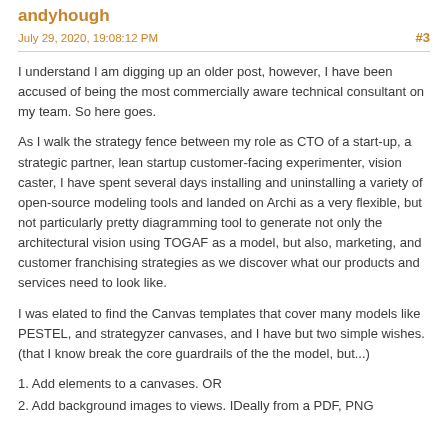andyhough
July 29, 2020, 19:08:12 PM
#3
I understand I am digging up an older post, however, I have been accused of being the most commercially aware technical consultant on my team.  So here goes.
As I walk the strategy fence between my role as CTO of a start-up, a strategic partner, lean startup customer-facing experimenter, vision caster, I have spent several days installing and uninstalling a variety of open-source modeling tools and landed on Archi as a very flexible, but not particularly pretty diagramming tool to generate not only the architectural vision using TOGAF as a model, but also, marketing, and customer franchising strategies as we discover what our products and services need to look like.
I was elated to find the Canvas templates that cover many models like PESTEL,  and strategyzer canvases, and I have but two simple wishes.  (that I know break the core guardrails of the the model, but...)
1. Add elements to a canvases.    OR
2. Add background images to views. IDeally from a PDF, PNG